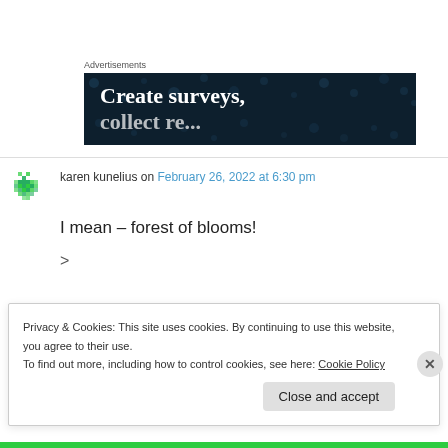Advertisements
[Figure (screenshot): Dark navy blue advertisement banner with white bold serif text reading 'Create surveys,' and partial second line, with decorative dot pattern overlay]
karen kunelius on February 26, 2022 at 6:30 pm
I mean – forest of blooms!
>
Privacy & Cookies: This site uses cookies. By continuing to use this website, you agree to their use.
To find out more, including how to control cookies, see here: Cookie Policy
Close and accept